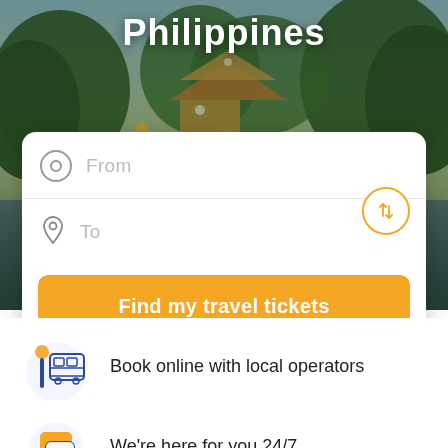[Figure (photo): Hero background image of a tropical/Asian city scene with trees, water reflections, temple or pagoda structure, with dark overlay]
Philippines
[Figure (screenshot): Search widget with From and To fields and swap button]
Find my travel tickets
[Figure (illustration): Icon of a bus stop with a yellow circle on top and blue bus/building]
Book online with local operators
[Figure (illustration): Icon of speech bubbles with a yellow chat bubble and blue bubble with dots]
We're here for you 24/7